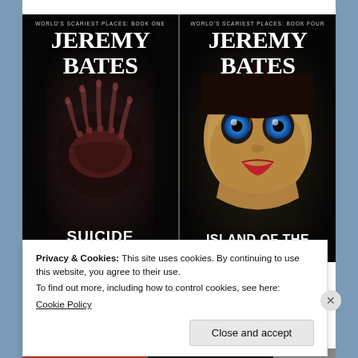[Figure (illustration): Two book covers side by side. Left: 'Jeremy Bates - Suicide Forest' (World's Scariest Places: Book One) with dark horror imagery of gnarled hands. Right: 'Jeremy Bates - Island of the Dolls' (World's Scariest Places: Book Four) with a creepy doll face with blue eyes.]
Privacy & Cookies: This site uses cookies. By continuing to use this website, you agree to their use.
To find out more, including how to control cookies, see here:
Cookie Policy
Close and accept